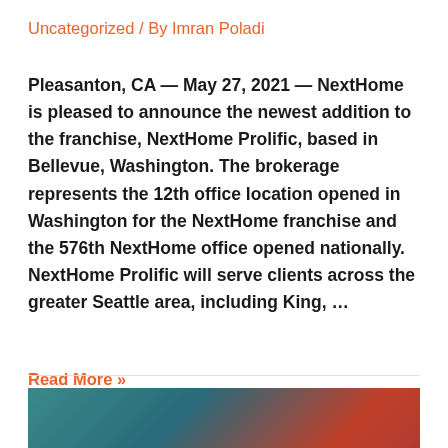Uncategorized / By Imran Poladi
Pleasanton, CA — May 27, 2021 — NextHome is pleased to announce the newest addition to the franchise, NextHome Prolific, based in Bellevue, Washington. The brokerage represents the 12th office location opened in Washington for the NextHome franchise and the 576th NextHome office opened nationally. NextHome Prolific will serve clients across the greater Seattle area, including King, …
Read More »
[Figure (photo): Partial image of people visible at bottom of page]